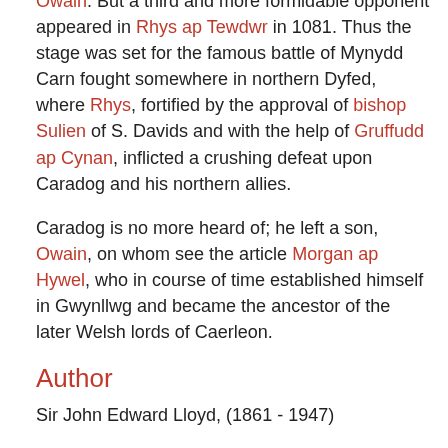Owain. But a third and more formidable opponent appeared in Rhys ap Tewdwr in 1081. Thus the stage was set for the famous battle of Mynydd Carn fought somewhere in northern Dyfed, where Rhys, fortified by the approval of bishop Sulien of S. Davids and with the help of Gruffudd ap Cynan, inflicted a crushing defeat upon Caradog and his northern allies.
Caradog is no more heard of; he left a son, Owain, on whom see the article Morgan ap Hywel, who in course of time established himself in Gwynllwg and became the ancestor of the later Welsh lords of Caerleon.
Author
Sir John Edward Lloyd, (1861 - 1947)
Sources
J. E. Lloyd, A History of Wales from the Earliest Times to the